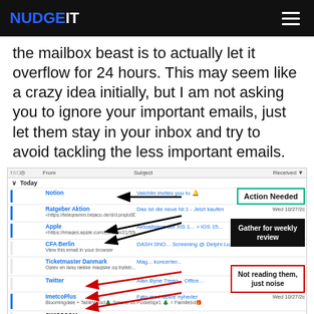NUDGEIT
the mailbox beast is to actually let it overflow for 24 hours. This may seem like a crazy idea initially, but I am not asking you to ignore your important emails, just let them stay in your inbox and try to avoid tackling the less important emails.
[Figure (screenshot): Screenshot of an email inbox showing emails from Notion, Ratgeber Aktion, Apple, CFA Berlin, Ticketmaster Danmark, Twitter, ImetcoPlus, and SWISSCOM. Three callout annotations are overlaid: 'Action Needed' (teal border), 'Gather for weekly review' (black background), and 'Not reading them, just noise' (red border). Arrows point from the callouts to specific email rows.]